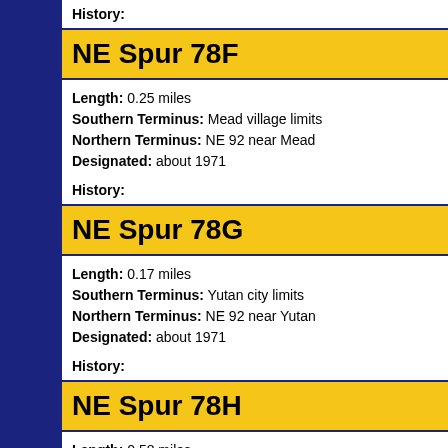History:
NE Spur 78F
Length: 0.25 miles
Southern Terminus: Mead village limits
Northern Terminus: NE 92 near Mead
Designated: about 1971
History:
NE Spur 78G
Length: 0.17 miles
Southern Terminus: Yutan city limits
Northern Terminus: NE 92 near Yutan
Designated: about 1971
History:
NE Spur 78H
Length: 0.58 miles
Western Terminus: Cedar Bluffs village limits
Eastern Terminus: NE 109 near Cedar Bluffs
Designated: about 1971